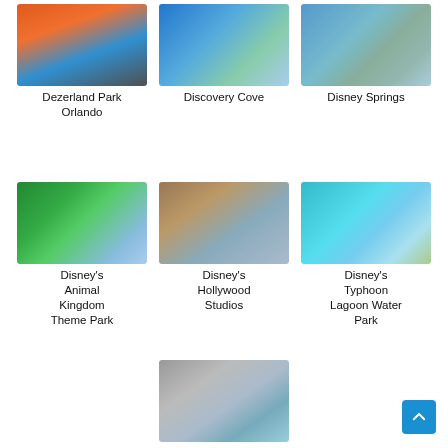[Figure (photo): Photo of Dezerland Park Orlando exterior with colorful facade]
Dezerland Park Orlando
[Figure (photo): Aerial map/photo of Discovery Cove theme park]
Discovery Cove
[Figure (photo): Photo of Disney Springs waterfront area with green sculpture]
Disney Springs
[Figure (photo): Photo of Disney's Animal Kingdom Theme Park - Tree of Life]
Disney's Animal Kingdom Theme Park
[Figure (photo): Photo of Disney's Hollywood Studios Tower of Terror building]
Disney's Hollywood Studios
[Figure (photo): Photo of Disney's Typhoon Lagoon Water Park with turquoise water]
Disney's Typhoon Lagoon Water Park
[Figure (photo): Photo of Epcot's Spaceship Earth geodesic sphere]
Epcot